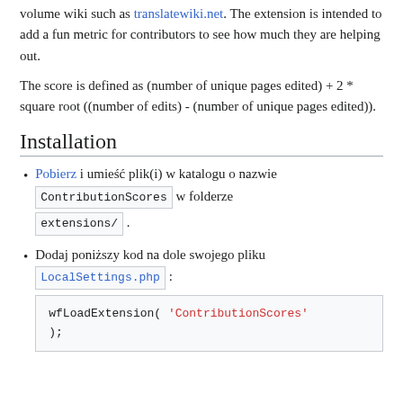volume wiki such as translatewiki.net. The extension is intended to add a fun metric for contributors to see how much they are helping out.
The score is defined as (number of unique pages edited) + 2 * square root ((number of edits) - (number of unique pages edited)).
Installation
Pobierz i umieść plik(i) w katalogu o nazwie ContributionScores w folderze extensions/.
Dodaj poniższy kod na dole swojego pliku LocalSettings.php : wfLoadExtension( 'ContributionScores' );